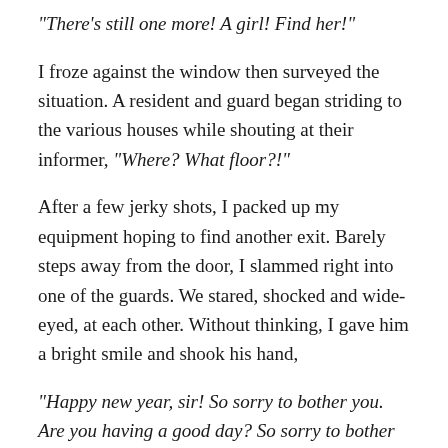“There’s still one more! A girl! Find her!”
I froze against the window then surveyed the situation. A resident and guard began striding to the various houses while shouting at their informer, “Where? What floor?!”
After a few jerky shots, I packed up my equipment hoping to find another exit. Barely steps away from the door, I slammed right into one of the guards. We stared, shocked and wide-eyed, at each other. Without thinking, I gave him a bright smile and shook his hand,
“Happy new year, sir! So sorry to bother you. Are you having a good day? So sorry to bother you! Thanks and goodbye.”